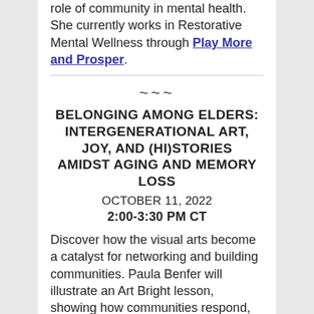role of community in mental health. She currently works in Restorative Mental Wellness through Play More and Prosper.
~~~
BELONGING AMONG ELDERS: INTERGENERATIONAL ART, JOY, AND (HI)STORIES AMIDST AGING AND MEMORY LOSS
OCTOBER 11, 2022
2:00-3:30 PM CT
Discover how the visual arts become a catalyst for networking and building communities. Paula Benfer will illustrate an Art Bright lesson, showing how communities respond, talk, and find common